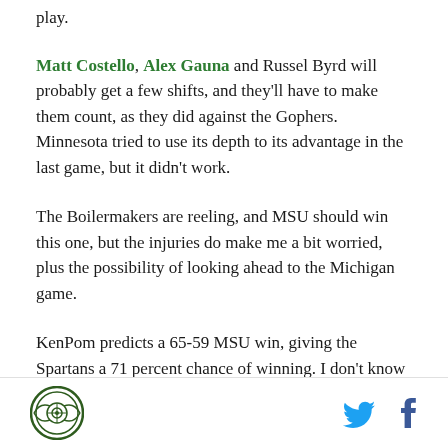play.
Matt Costello, Alex Gauna and Russel Byrd will probably get a few shifts, and they'll have to make them count, as they did against the Gophers. Minnesota tried to use its depth to its advantage in the last game, but it didn't work.
The Boilermakers are reeling, and MSU should win this one, but the injuries do make me a bit worried, plus the possibility of looking ahead to the Michigan game.
KenPom predicts a 65-59 MSU win, giving the Spartans a 71 percent chance of winning. I don't know if this beat-up MSU team can win the Big Ten, but they've already stayed in the race longer than most
Logo and social media icons